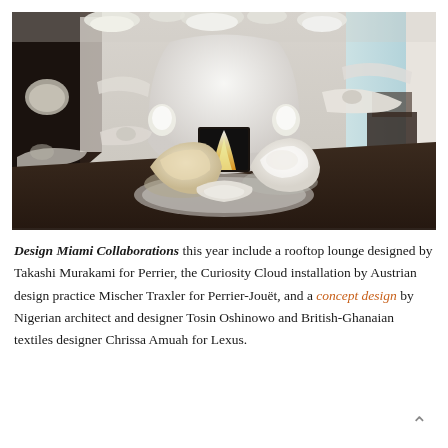[Figure (photo): Interior design installation showing an organic, white sculptural living room with egg-shaped fireplace, curved pod chairs on a shaggy rug, and biomorphic wall-mounted shelves with pendant lights above]
Design Miami Collaborations this year include a rooftop lounge designed by Takashi Murakami for Perrier, the Curiosity Cloud installation by Austrian design practice Mischer Traxler for Perrier-Jouët, and a concept design by Nigerian architect and designer Tosin Oshinowo and British-Ghanaian textiles designer Chrissa Amuah for Lexus.